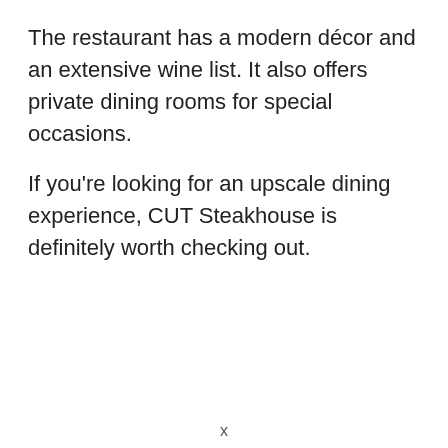The restaurant has a modern décor and an extensive wine list. It also offers private dining rooms for special occasions.
If you're looking for an upscale dining experience, CUT Steakhouse is definitely worth checking out.
x